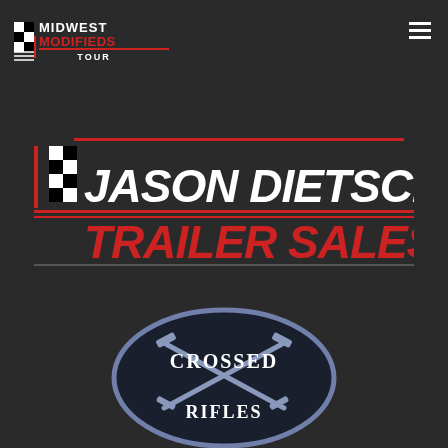[Figure (logo): Midwest Modifieds Tour logo — checkered flag icon on left with white and red text 'MIDWEST MODIFIEDS TOUR' on dark background, top-left corner]
[Figure (logo): Jason Dietsch Trailer Sales logo — checkered flag icon on left, 'JASON DIETSCH' in large bold white italic text, 'TRAILER SALES' in large bold red italic text, separated by red horizontal lines]
[Figure (logo): Crossed Rifles logo — oval badge with dark blue border, two crossed rifles in center, 'CROSSED RIFLES' text in white serif font on dark background]
[Figure (other): Hamburger menu icon (three horizontal white lines) in top-right corner]